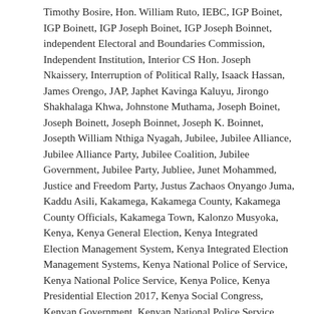Timothy Bosire, Hon. William Ruto, IEBC, IGP Boinet, IGP Boinett, IGP Joseph Boinet, IGP Joseph Boinnet, independent Electoral and Boundaries Commission, Independent Institution, Interior CS Hon. Joseph Nkaissery, Interruption of Political Rally, Isaack Hassan, James Orengo, JAP, Japhet Kavinga Kaluyu, Jirongo Shakhalaga Khwa, Johnstone Muthama, Joseph Boinet, Joseph Boinett, Joseph Boinnet, Joseph K. Boinnet, Josepth William Nthiga Nyagah, Jubilee, Jubilee Alliance, Jubilee Alliance Party, Jubilee Coalition, Jubilee Government, Jubilee Party, Jubliee, Junet Mohammed, Justice and Freedom Party, Justus Zachaos Onyango Juma, Kaddu Asili, Kakamega, Kakamega County, Kakamega County Officials, Kakamega Town, Kalonzo Musyoka, Kenya, Kenya General Election, Kenya Integrated Election Management System, Kenya Integrated Election Management Systems, Kenya National Police of Service, Kenya National Police Service, Kenya Police, Kenya Presidential Election 2017, Kenya Social Congress, Kenyan Government, Kenyan National Police Service, Keriako Tobiko, KIEMS, Kimaani Ngunjiri, Jubong Party of Kenya, Land Council for H.E.